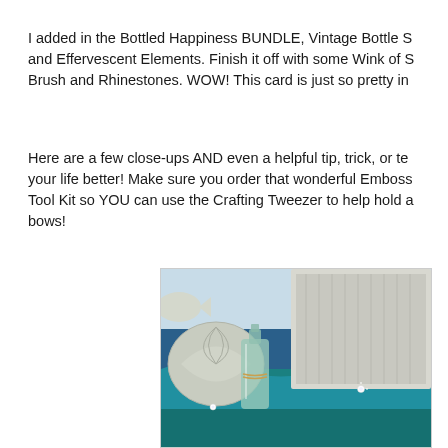I added in the Bottled Happiness BUNDLE, Vintage Bottle S and Effervescent Elements. Finish it off with some Wink of S Brush and Rhinestones. WOW! This card is just so pretty in
Here are a few close-ups AND even a helpful tip, trick, or te your life better! Make sure you order that wonderful Emboss Tool Kit so YOU can use the Crafting Tweezer to help hold a bows!
[Figure (photo): Close-up photo of a crafting project featuring a small glass bottle, embossed seashell and fish designs in silver/white tones, rhinestone embellishments, and blue textured background resembling ocean waves.]